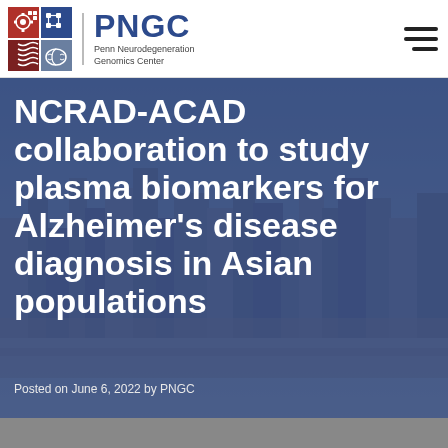PNGC Penn Neurodegeneration Genomics Center
NCRAD-ACAD collaboration to study plasma biomarkers for Alzheimer's disease diagnosis in Asian populations
Posted on June 6, 2022 by PNGC